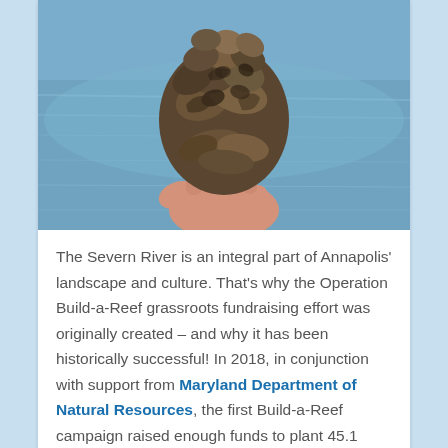[Figure (photo): A hand holding a cluster of oysters above water. The Severn River or similar body of water is visible in the background.]
The Severn River is an integral part of Annapolis' landscape and culture. That's why the Operation Build-a-Reef grassroots fundraising effort was originally created – and why it has been historically successful! In 2018, in conjunction with support from Maryland Department of Natural Resources, the first Build-a-Reef campaign raised enough funds to plant 45.1 million oysters between the Severn